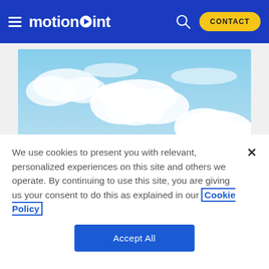motionpoint — CONTACT
[Figure (photo): Blue sky with white clouds, wide panoramic banner image]
We use cookies to present you with relevant, personalized experiences on this site and others we operate. By continuing to use this site, you are giving us your consent to do this as explained in our Cookie Policy
Accept All